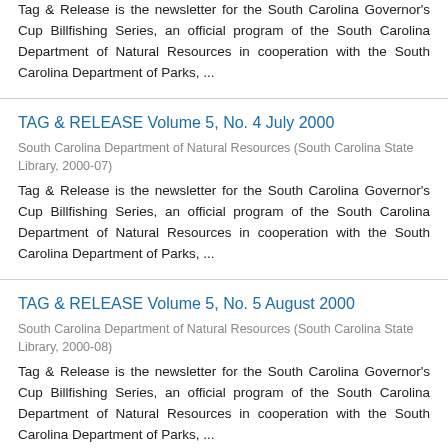Tag & Release is the newsletter for the South Carolina Governor's Cup Billfishing Series, an official program of the South Carolina Department of Natural Resources in cooperation with the South Carolina Department of Parks, ...
TAG & RELEASE Volume 5, No. 4 July 2000
South Carolina Department of Natural Resources (South Carolina State Library, 2000-07)
Tag & Release is the newsletter for the South Carolina Governor's Cup Billfishing Series, an official program of the South Carolina Department of Natural Resources in cooperation with the South Carolina Department of Parks, ...
TAG & RELEASE Volume 5, No. 5 August 2000
South Carolina Department of Natural Resources (South Carolina State Library, 2000-08)
Tag & Release is the newsletter for the South Carolina Governor's Cup Billfishing Series, an official program of the South Carolina Department of Natural Resources in cooperation with the South Carolina Department of Parks, ...
TAG & RELEASE Volume 6, No. 3 Summer 2001
South Carolina Department of Natural Resources (South Carolina State Library)